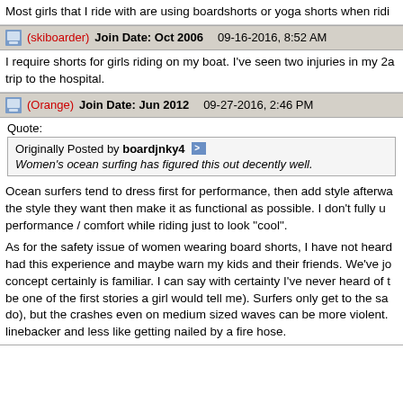Most girls that I ride with are using boardshorts or yoga shorts when ridi
(skiboarder)   Join Date: Oct 2006   09-16-2016, 8:52 AM
I require shorts for girls riding on my boat. I've seen two injuries in my 2… a trip to the hospital.
(Orange)   Join Date: Jun 2012   09-27-2016, 2:46 PM
Quote: Originally Posted by boardjnky4 Women's ocean surfing has figured this out decently well.
Ocean surfers tend to dress first for performance, then add style afterwa... the style they want then make it as functional as possible. I don't fully u... performance / comfort while riding just to look "cool".
As for the safety issue of women wearing board shorts, I have not heard... had this experience and maybe warn my kids and their friends. We've jo... concept certainly is familiar. I can say with certainty I've never heard of t... be one of the first stories a girl would tell me). Surfers only get to the sa... do), but the crashes even on medium sized waves can be more violent. ... linebacker and less like getting nailed by a fire hose.